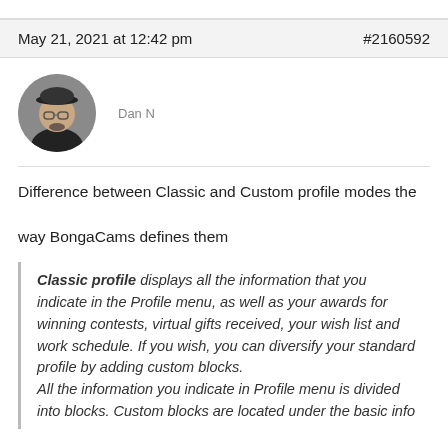May 21, 2021 at 12:42 pm   #2160592
[Figure (photo): Circular avatar photo of user Dan N, a person wearing a cap and glasses]
Dan N
Difference between Classic and Custom profile modes the way BongaCams defines them
Classic profile displays all the information that you indicate in the Profile menu, as well as your awards for winning contests, virtual gifts received, your wish list and work schedule. If you wish, you can diversify your standard profile by adding custom blocks.
All the information you indicate in Profile menu is divided into blocks. Custom blocks are located under the basic info